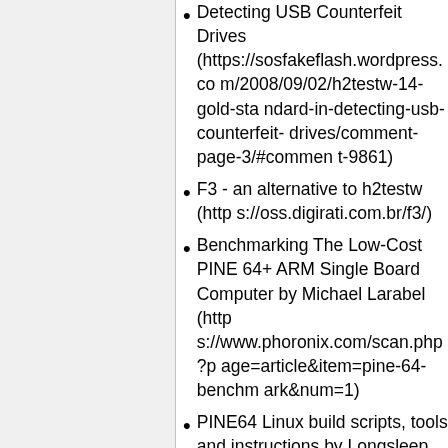Detecting USB Counterfeit Drives (https://sosfakeflash.wordpress.com/2008/09/02/h2testw-14-gold-standard-in-detecting-usb-counterfeit-drives/comment-page-3/#comment-9861)
F3 - an alternative to h2testw (https://oss.digirati.com.br/f3/)
Benchmarking The Low-Cost PINE 64+ ARM Single Board Computer by Michael Larabel (https://www.phoronix.com/scan.php?page=article&item=pine-64-benchmark&num=1)
PINE64 Linux build scripts, tools and instructions by Longsleep (https://github.com/longsleep/build-pine64-image)
PINE64 Linux image by Longsleep (https://www.stdin.xyz/downloads/people/longsleep/pine64-images/)